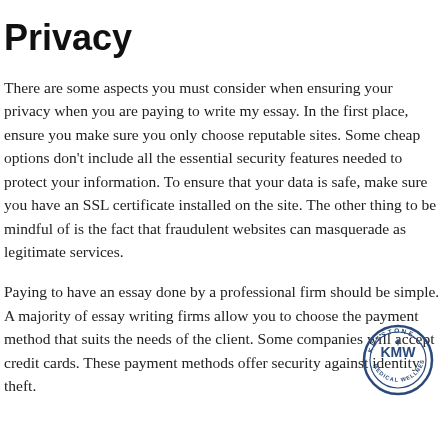Privacy
There are some aspects you must consider when ensuring your privacy when you are paying to write my essay. In the first place, ensure you make sure you only choose reputable sites. Some cheap options don't include all the essential security features needed to protect your information. To ensure that your data is safe, make sure you have an SSL certificate installed on the site. The other thing to be mindful of is the fact that fraudulent websites can masquerade as legitimate services.
Paying to have an essay done by a professional firm should be simple. A majority of essay writing firms allow you to choose the payment method that suits the needs of the client. Some companies will accept credit cards. These payment methods offer security against identity theft.